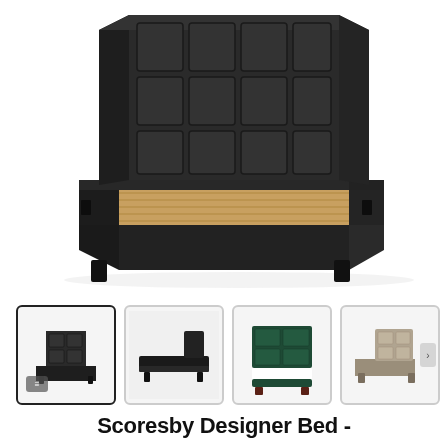[Figure (photo): Large main product image of a dark charcoal/black upholstered bed frame with tall square-paneled headboard, wooden slat base visible, photographed from a three-quarter angle on white background]
[Figure (photo): Thumbnail 1 (selected): Dark black upholstered bed with square-panel headboard, three-quarter front view, white background]
[Figure (photo): Thumbnail 2: Dark black upholstered bed, side profile view, white background]
[Figure (photo): Thumbnail 3: Dark green upholstered bed with paneled headboard, front view]
[Figure (photo): Thumbnail 4: Beige/taupe upholstered bed with paneled headboard, three-quarter view, partially cut off on right]
Scoresby Designer Bed -